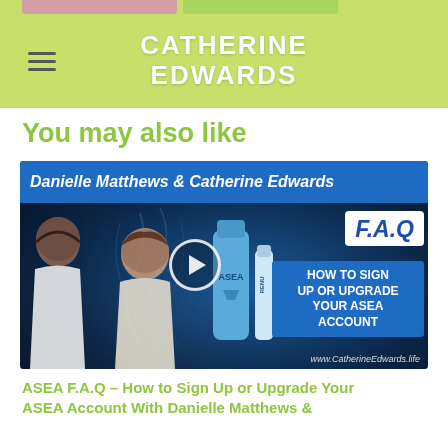CATHERINE EDWARDS
You may also like
[Figure (screenshot): Video thumbnail showing Danielle Matthews & Catherine Edwards FAQ: How to Sign Up or Upgrade Your ASEA Account, with two women, an ASEA bottle, play button, and www.CatherineEdwards.life]
ASEA F.A.Q – How to Sign Up or Upgrade Your ASEA Account With Danielle Matthews &